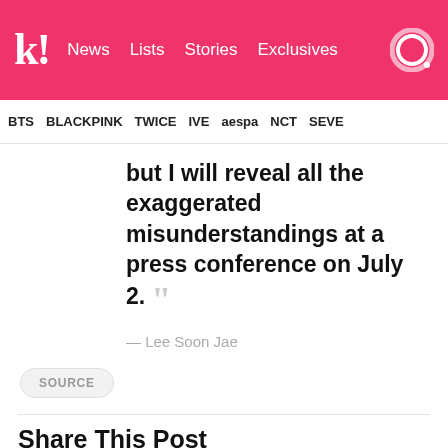Koreaboo — News | Lists | Stories | Exclusives
BTS | BLACKPINK | TWICE | IVE | aespa | NCT | SEVE
but I will reveal all the exaggerated misunderstandings at a press conference on July 2. ””
— Lee Soon Jae
SOURCE
Share This Post
Facebook
Twitter